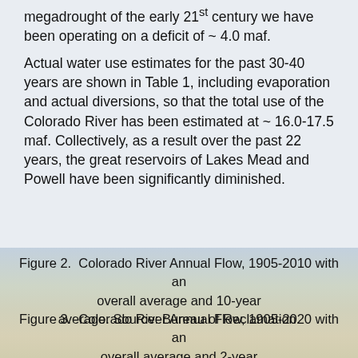megadrought of the early 21st century we have been operating on a deficit of ~ 4.0 maf.
Actual water use estimates for the past 30-40 years are shown in Table 1, including evaporation and actual diversions, so that the total use of the Colorado River has been estimated at ~ 16.0-17.5 maf. Collectively, as a result over the past 22 years, the great reservoirs of Lakes Mead and Powell have been significantly diminished.
Figure 2.  Colorado River Annual Flow, 1905-2010 with an overall average and 10-year average. Source: Bureau of Reclamation.
Figure 3.  Colorado River Annual Flow, 1905-2020 with an overall average and 2-year